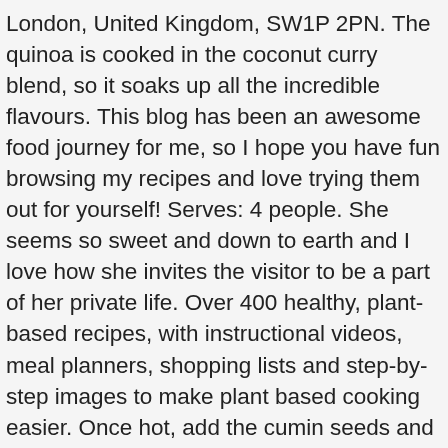London, United Kingdom, SW1P 2PN. The quinoa is cooked in the coconut curry blend, so it soaks up all the incredible flavours. This blog has been an awesome food journey for me, so I hope you have fun browsing my recipes and love trying them out for yourself! Serves: 4 people. She seems so sweet and down to earth and I love how she invites the visitor to be a part of her private life. Over 400 healthy, plant-based recipes, with instructional videos, meal planners, shopping lists and step-by-step images to make plant based cooking easier. Once hot, add the cumin seeds and black mustard seeds and cook for 30 seconds, until they begin to pop. I have listened to all three seasons more than once, and continue to learn from each episode. Bang Bang Cauliflower with sweet and spicy sauce. In the London episode of "Down to Earth", Ella talks to Zac about how a plant-based diet has transformed her health as well as her overall life and visits her kitchen to taste one of her very own creations. Turn … Over 400 healthy, plant-based recipes, with instructional videos, meal planners, shopping lists and step-by-step